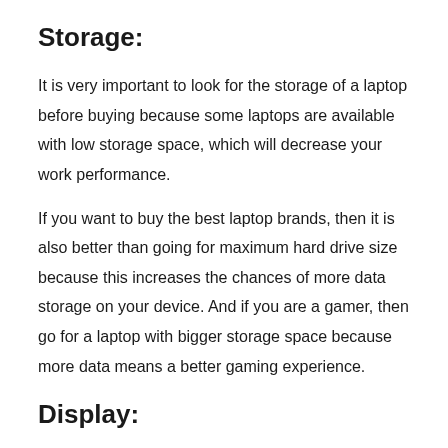Storage:
It is very important to look for the storage of a laptop before buying because some laptops are available with low storage space, which will decrease your work performance.
If you want to buy the best laptop brands, then it is also better than going for maximum hard drive size because this increases the chances of more data storage on your device. And if you are a gamer, then go for a laptop with bigger storage space because more data means a better gaming experience.
Display: